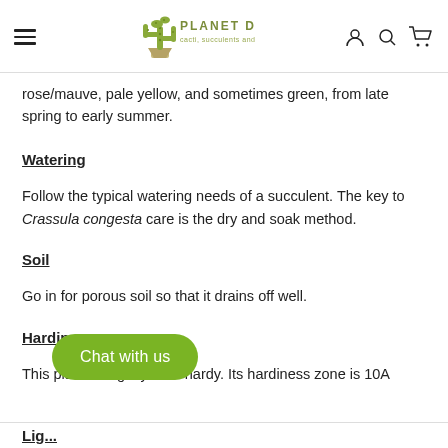Planet Desert — cacti, succulents and more...
rose/mauve, pale yellow, and sometimes green, from late spring to early summer.
Watering
Follow the typical watering needs of a succulent. The key to Crassula congesta care is the dry and soak method.
Soil
Go in for porous soil so that it drains off well.
Hardiness
This plant is slightly frost-hardy. Its hardiness zone is 10A
Lig...
Chat with us